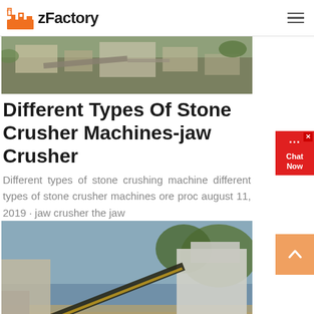zFactory
[Figure (photo): Aerial view of a stone crushing facility with industrial machinery and buildings]
Different Types Of Stone Crusher Machines-jaw Crusher
Different types of stone crushing machine different types of stone crusher machines ore proc august 11, 2019 · jaw crusher the jaw
[Figure (photo): Stone crusher conveyor belt system at an outdoor quarry site]
more .
[Figure (photo): Partial view of another stone crushing equipment]